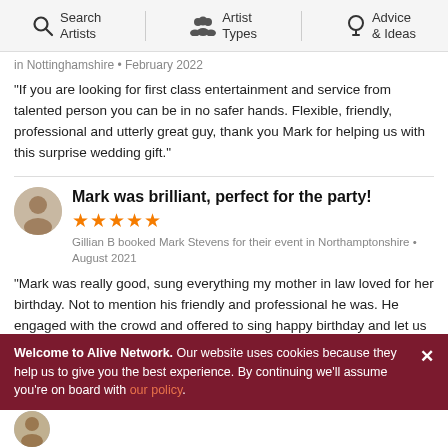Search Artists | Artist Types | Advice & Ideas
in Nottinghamshire • February 2022
“If you are looking for first class entertainment and service from talented person you can be in no safer hands. Flexible, friendly, professional and utterly great guy, thank you Mark for helping us with this surprise wedding gift.”
Mark was brilliant, perfect for the party!
Gillian B booked Mark Stevens for their event in Northamptonshire • August 2021
“Mark was really good, sung everything my mother in law loved for her birthday. Not to mention his friendly and professional he was. He engaged with the crowd and offered to sing happy birthday and let us squeeze in a couple of speeches on his mic! Would definitely recommend and book again for future parties!!”
Welcome to Alive Network. Our website uses cookies because they help us to give you the best experience. By continuing we’ll assume you’re on board with our policy.